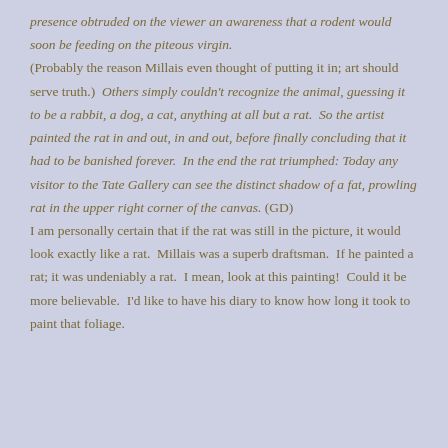presence obtruded on the viewer an awareness that a rodent would soon be feeding on the piteous virgin. (Probably the reason Millais even thought of putting it in; art should serve truth.)  Others simply couldn't recognize the animal, guessing it to be a rabbit, a dog, a cat, anything at all but a rat.  So the artist painted the rat in and out, in and out, before finally concluding that it had to be banished forever.  In the end the rat triumphed: Today any visitor to the Tate Gallery can see the distinct shadow of a fat, prowling rat in the upper right corner of the canvas. (GD)
I am personally certain that if the rat was still in the picture, it would look exactly like a rat.  Millais was a superb draftsman.  If he painted a rat; it was undeniably a rat.  I mean, look at this painting!  Could it be more believable.  I'd like to have his diary to know how long it took to paint that foliage.